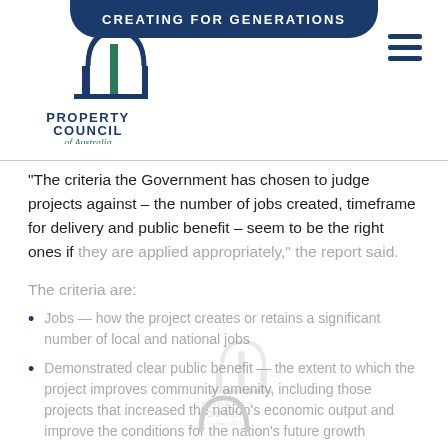CREATING FOR GENERATIONS
[Figure (logo): Property Council of Australia logo, top left]
"The criteria the Government has chosen to judge projects against – the number of jobs created, timeframe for delivery and public benefit – seem to be the right ones if they are applied appropriately," the report said.
The criteria are:
Jobs — how the project creates or retains a significant number of local and national jobs
Demonstrated clear public benefit — the extent to which the project improves community amenity, including those projects that increased the nation's economic output and improve the conditions for the nation's future growth
Public benefit to the country as a whole — the extent to which benefits of the project flow to the community and the nation more broadly